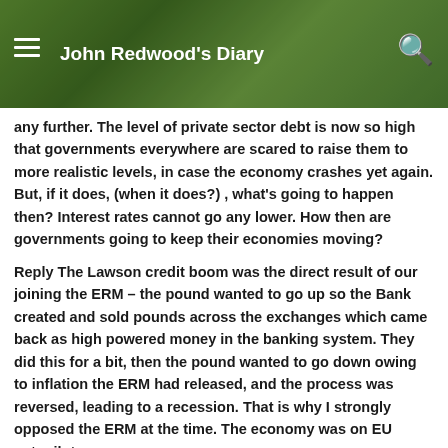John Redwood's Diary
any further. The level of private sector debt is now so high that governments everywhere are scared to raise them to more realistic levels, in case the economy crashes yet again. But, if it does, (when it does?) , what's going to happen then? Interest rates cannot go any lower. How then are governments going to keep their economies moving?
Reply The Lawson credit boom was the direct result of our joining the ERM – the pound wanted to go up so the Bank created and sold pounds across the exchanges which came back as high powered money in the banking system. They did this for a bit, then the pound wanted to go down owing to inflation the ERM had released, and the process was reversed, leading to a recession. That is why I strongly opposed the ERM at the time. The economy was on EU autopilot.